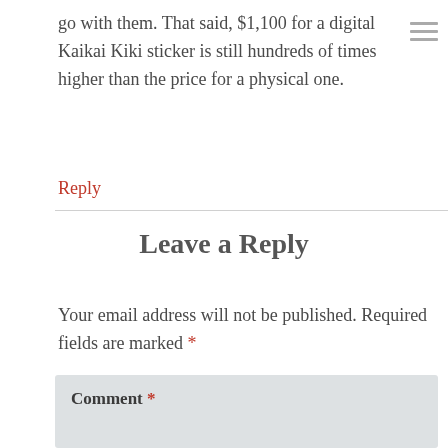go with them. That said, $1,100 for a digital Kaikai Kiki sticker is still hundreds of times higher than the price for a physical one.
Reply
Leave a Reply
Your email address will not be published. Required fields are marked *
Comment *